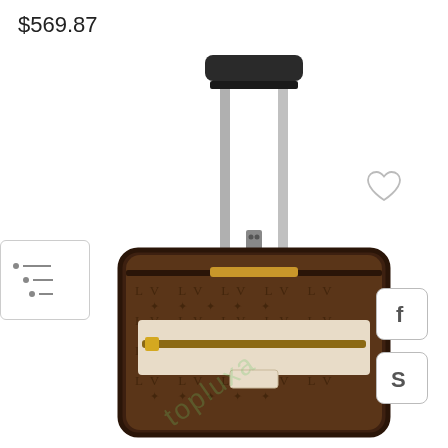$569.87
[Figure (illustration): Filter/sort icon with three horizontal sliders]
[Figure (illustration): Heart/wishlist icon outline]
[Figure (photo): Louis Vuitton monogram rolling luggage suitcase with extended telescoping handle, gold zippers, front pocket with cream/white zipper detail, brown LV monogram canvas, watermark 'topluxa' overlaid diagonally]
[Figure (logo): Facebook 'f' social media icon in rounded square button]
[Figure (logo): Skype 'S' social media icon in rounded square button]